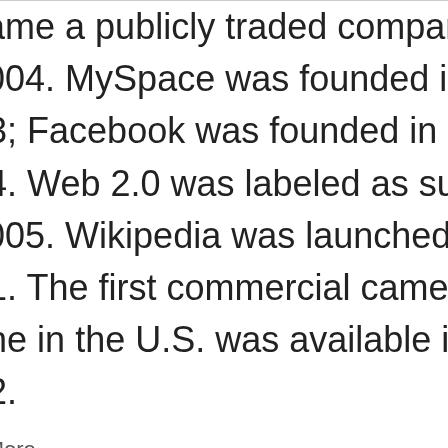became a publicly traded company in 2004. MySpace was founded in 2003; Facebook was founded in 2004. Web 2.0 was labeled as such in 2005. Wikipedia was launched in 2001. The first commercial camera-phone in the U.S. was available in 2002.
Read More →
tim  Posted in Expert Analysis  Leave a comment